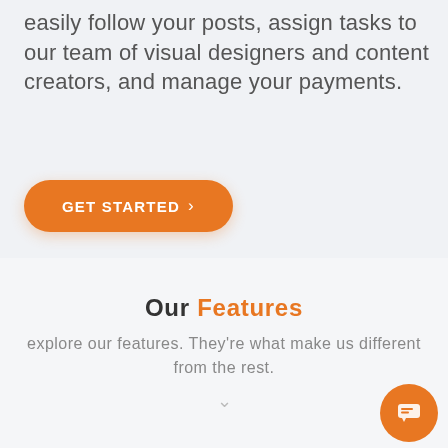easily follow your posts, assign tasks to our team of visual designers and content creators, and manage your payments.
[Figure (other): Orange rounded rectangle button labeled 'GET STARTED' with a right-arrow chevron]
Our Features
explore our features. They're what make us different from the rest.
[Figure (other): Orange circular chat/message button icon in the bottom right corner]